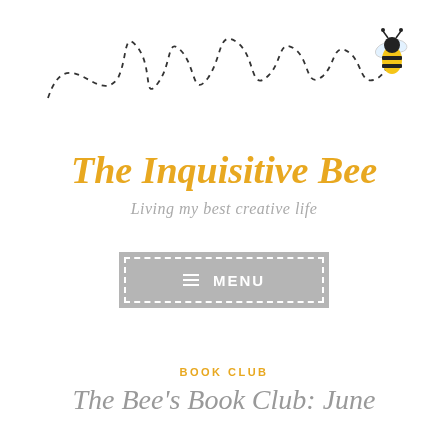[Figure (illustration): Decorative dashed-line bee flight path forming looping curves across the top of the page, with a cartoon bumblebee (black and yellow) at the right end of the path]
The Inquisitive Bee
Living my best creative life
≡ MENU
BOOK CLUB
The Bee's Book Club: June